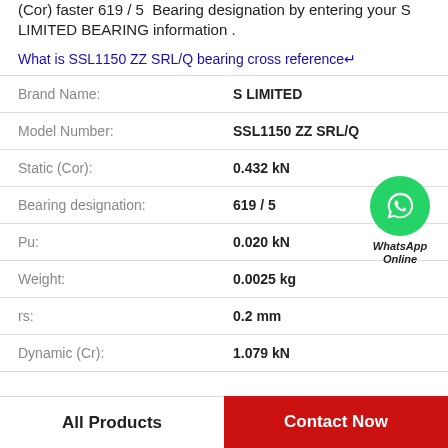(Cor) faster 619 / 5  Bearing designation by entering your S LIMITED BEARING information .
What is SSL1150 ZZ SRL/Q bearing cross reference↵
| Property | Value |
| --- | --- |
| Brand Name: | S LIMITED |
| Model Number: | SSL1150 ZZ SRL/Q |
| Static (Cor): | 0.432 kN |
| Bearing designation: | 619 / 5 |
| Pu: | 0.020 kN |
| Weight: | 0.0025 kg |
| rs: | 0.2 mm |
| Dynamic (Cr): | 1.079 kN |
[Figure (logo): WhatsApp Online green circle icon with phone handset, labeled WhatsApp Online]
All Products
Contact Now